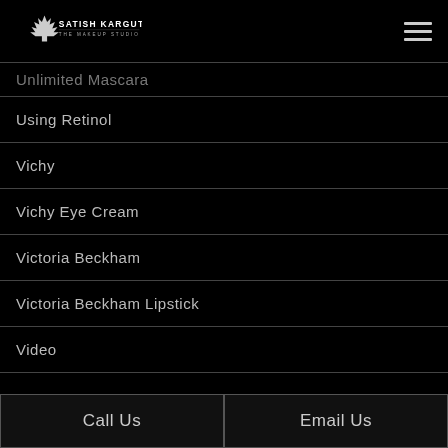Satish Kargutkar The Makeup Studio
Unlimited Mascara
Using Retinol
Vichy
Vichy Eye Cream
Victoria Beckham
Victoria Beckham Lipstick
Video
Call Us | Email Us